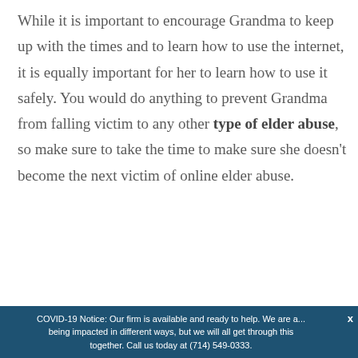While it is important to encourage Grandma to keep up with the times and to learn how to use the internet, it is equally important for her to learn how to use it safely. You would do anything to prevent Grandma from falling victim to any other type of elder abuse, so make sure to take the time to make sure she doesn't become the next victim of online elder abuse.
COVID-19 Notice: Our firm is available and ready to help. We are a... being impacted in different ways, but we will all get through this together. Call us today at (714) 549-0333.